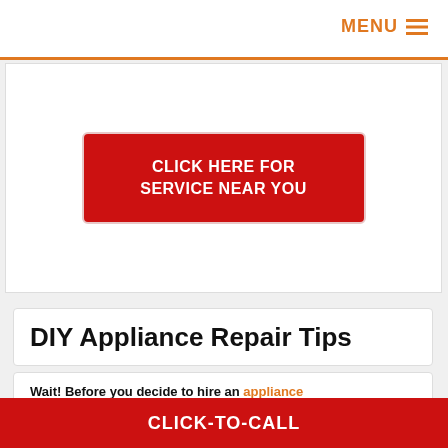MENU
[Figure (other): Red call-to-action button with white text reading CLICK HERE FOR SERVICE NEAR YOU, with a light pink/white border, on a white background]
DIY Appliance Repair Tips
Wait! Before you decide to hire an appliance repair CITY for help, you should be able to kee...
CLICK-TO-CALL